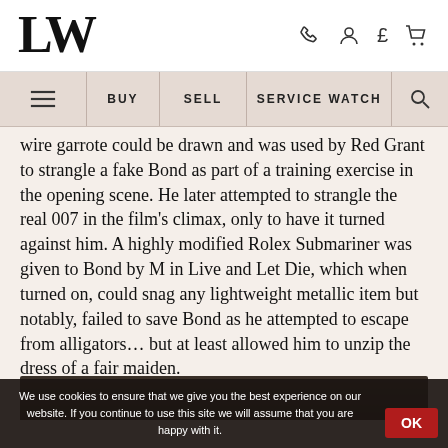LW [logo] — navigation: BUY | SELL | SERVICE WATCH
wire garrote could be drawn and was used by Red Grant to strangle a fake Bond as part of a training exercise in the opening scene. He later attempted to strangle the real 007 in the film's climax, only to have it turned against him. A highly modified Rolex Submariner was given to Bond by M in Live and Let Die, which when turned on, could snag any lightweight metallic item but notably, failed to save Bond as he attempted to escape from alligators… but at least allowed him to unzip the dress of a fair maiden.
[Figure (photo): Dark photograph strip partially visible at bottom of page]
We use cookies to ensure that we give you the best experience on our website. If you continue to use this site we will assume that you are happy with it.